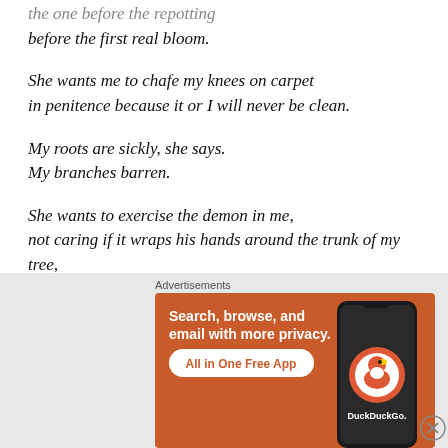the one before the repotting
before the first real bloom.
She wants me to chafe my knees on carpet
in penitence because it or I will never be clean.
My roots are sickly, she says.
My branches barren.
She wants to exercise the demon in me,
not caring if it wraps his hands around the trunk of my tree,
and collapses my windpipe in the process.
[Figure (other): DuckDuckGo advertisement banner: orange background with text 'Search, browse, and email with more privacy. All in One Free App' and DuckDuckGo logo on a phone graphic]